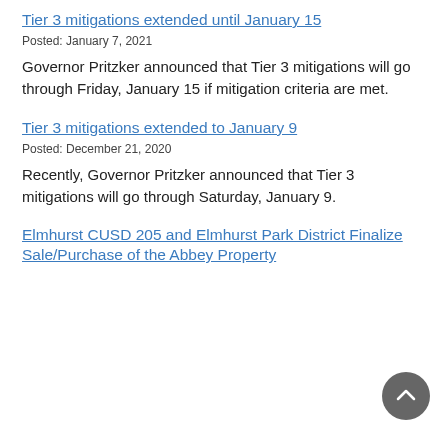Tier 3 mitigations extended until January 15
Posted: January 7, 2021
Governor Pritzker announced that Tier 3 mitigations will go through Friday, January 15 if mitigation criteria are met.
Tier 3 mitigations extended to January 9
Posted: December 21, 2020
Recently, Governor Pritzker announced that Tier 3 mitigations will go through Saturday, January 9.
Elmhurst CUSD 205 and Elmhurst Park District Finalize Sale/Purchase of the Abbey Property